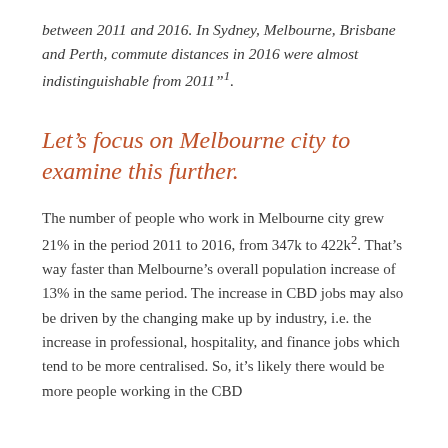between 2011 and 2016. In Sydney, Melbourne, Brisbane and Perth, commute distances in 2016 were almost indistinguishable from 2011"¹.
Let's focus on Melbourne city to examine this further.
The number of people who work in Melbourne city grew 21% in the period 2011 to 2016, from 347k to 422k². That's way faster than Melbourne's overall population increase of 13% in the same period. The increase in CBD jobs may also be driven by the changing make up by industry, i.e. the increase in professional, hospitality, and finance jobs which tend to be more centralised. So, it's likely there would be more people working in the CBD